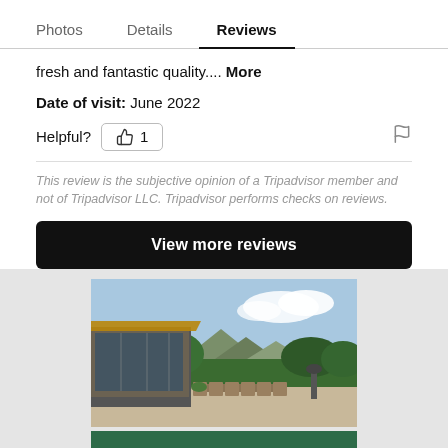Photos   Details   Reviews
fresh and fantastic quality.... More
Date of visit: June 2022
Helpful? 1
This review is the subjective opinion of a Tripadvisor member and not of Tripadvisor LLC. Tripadvisor performs checks on reviews.
View more reviews
[Figure (photo): Outdoor vacation home patio with wooden dining table and chairs, glass-walled house, green hedges and mountains in the background under a partly cloudy sky. Below the photo is a dark green banner with the text: Rent a home for your next vacation]